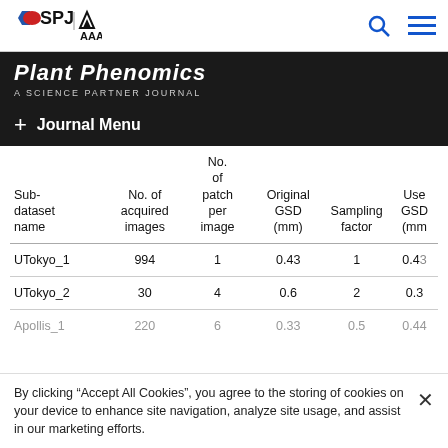SPJ | AAAS — Plant Phenomics, A Science Partner Journal
+ Journal Menu
| Sub-dataset name | No. of acquired images | No. of patch per image | Original GSD (mm) | Sampling factor | Use GSD (mm) |
| --- | --- | --- | --- | --- | --- |
| UTokyo_1 | 994 | 1 | 0.43 | 1 | 0.43 |
| UTokyo_2 | 30 | 4 | 0.6 | 2 | 0.3 |
| Apollis_1 | 220 | 6 | 0.33 | 0.5 | 0.44 |
By clicking "Accept All Cookies", you agree to the storing of cookies on your device to enhance site navigation, analyze site usage, and assist in our marketing efforts.